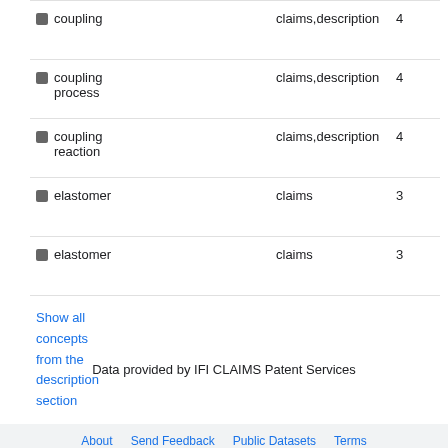| Concept | Location | Count |
| --- | --- | --- |
| coupling | claims,description | 4 |
| coupling process | claims,description | 4 |
| coupling reaction | claims,description | 4 |
| elastomer | claims | 3 |
| elastomer | claims | 3 |
Show all concepts from the description section
Data provided by IFI CLAIMS Patent Services
About   Send Feedback   Public Datasets   Terms   Privacy Policy